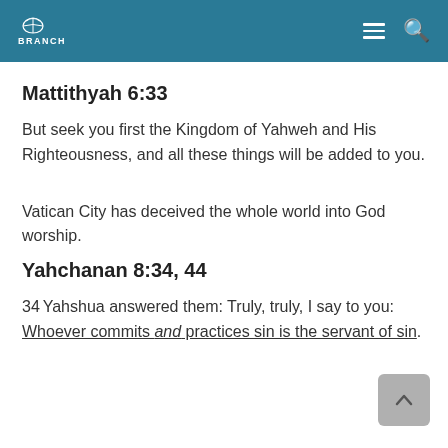BRANCH
Mattithyah 6:33
But seek you first the Kingdom of Yahweh and His Righteousness, and all these things will be added to you.
Vatican City has deceived the whole world into God worship.
Yahchanan 8:34, 44
34 Yahshua answered them: Truly, truly, I say to you: Whoever commits and practices sin is the servant of sin.